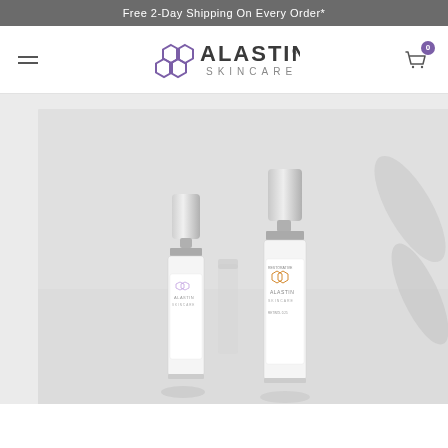Free 2-Day Shipping On Every Order*
[Figure (logo): Alastin Skincare logo with hexagonal chain icon in purple, text ALASTIN SKINCARE in gray]
[Figure (photo): Two Alastin Skincare product bottles (serums) with silver caps on a white background with subtle shadow details. Left bottle is smaller, right bottle is taller. Both feature the Alastin Skincare branding.]